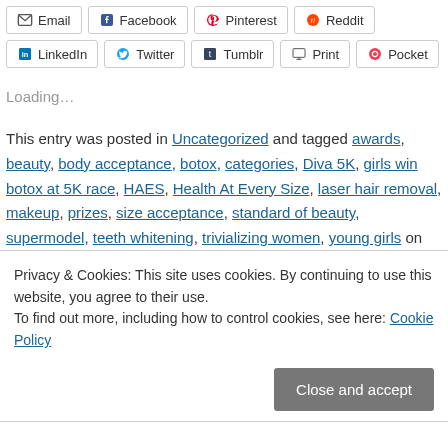Email  Facebook  Pinterest  Reddit  LinkedIn  Twitter  Tumblr  Print  Pocket
Loading...
This entry was posted in Uncategorized and tagged awards, beauty, body acceptance, botox, categories, Diva 5K, girls win botox at 5K race, HAES, Health At Every Size, laser hair removal, makeup, prizes, size acceptance, standard of beauty, supermodel, teeth whitening, trivializing women, young girls on
Privacy & Cookies: This site uses cookies. By continuing to use this website, you agree to their use.
To find out more, including how to control cookies, see here: Cookie Policy
Close and accept